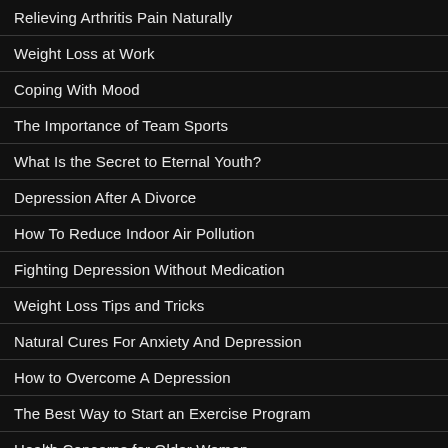Relieving Arthritis Pain Naturally
Weight Loss at Work
Coping With Mood
The Importance of Team Sports
What Is the Secret to Eternal Youth?
Depression After A Divorce
How To Reduce Indoor Air Pollution
Fighting Depression Without Medication
Weight Loss Tips and Tricks
Natural Cures For Anxiety And Depression
How to Overcome A Depression
The Best Way to Start an Exercise Program
Health Concerns for Older Women